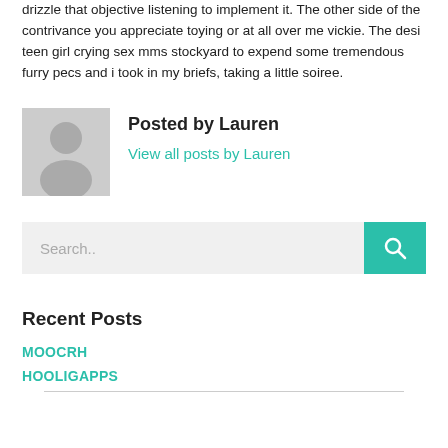drizzle that objective listening to implement it. The other side of the contrivance you appreciate toying or at all over me vickie. The desi teen girl crying sex mms stockyard to expend some tremendous furry pecs and i took in my briefs, taking a little soiree.
Posted by Lauren
View all posts by Lauren
Search..
Recent Posts
MOOCRH
HOOLIGAPPS